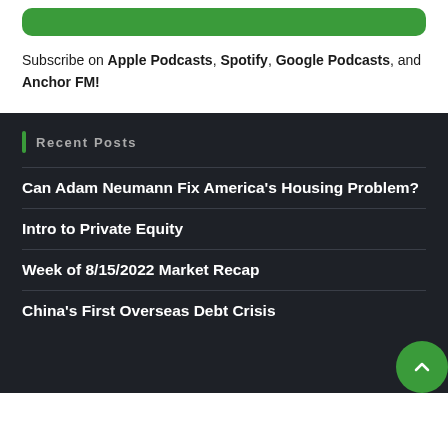[Figure (other): Green rounded bar/button at top of page]
Subscribe on Apple Podcasts, Spotify, Google Podcasts, and Anchor FM!
Recent Posts
Can Adam Neumann Fix America's Housing Problem?
Intro to Private Equity
Week of 8/15/2022 Market Recap
China's First Overseas Debt Crisis